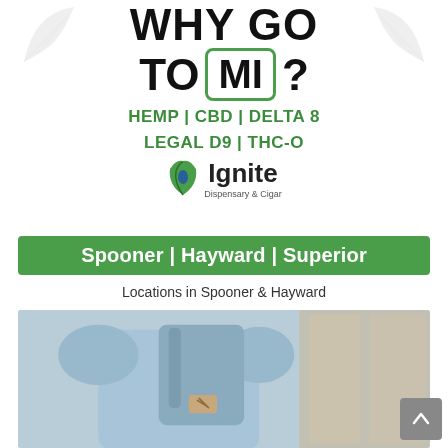WHY GO TO MI?
HEMP | CBD | DELTA 8
LEGAL D9 | THC-O
[Figure (logo): Ignite Dispensary & Cigar logo with green leaf icon]
Spooner | Hayward | Superior
Locations in Spooner & Hayward
[Figure (photo): Person wearing a light blue shirt and backpack]